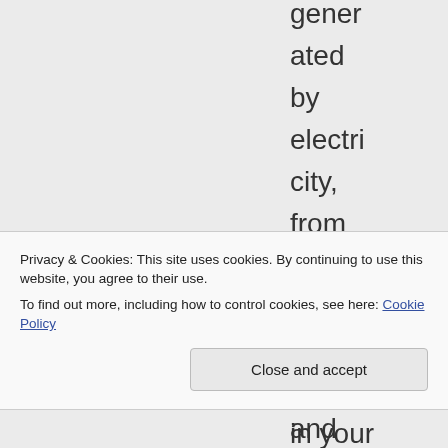generated by electricity, from the current in the wires in your
Privacy & Cookies: This site uses cookies. By continuing to use this website, you agree to their use. To find out more, including how to control cookies, see here: Cookie Policy
Close and accept
and